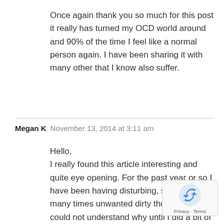Once again thank you so much for this post it really has turned my OCD world around and 90% of the time I feel like a normal person again. I have been sharing it with many other that I know also suffer.
Megan K   November 13, 2014 at 3:11 am
Hello,
I really found this article interesting and quite eye opening. For the past year or so I have been having disturbing, scary, and many times unwanted dirty thoughts and I could not understand why until I did a bit of research and your article really helped me see that I am not the only one suffering this